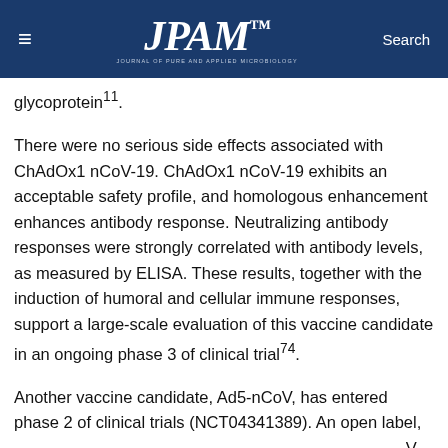≡   JPAM   Search
glycoprotein¹¹.
There were no serious side effects associated with ChAdOx1 nCoV-19. ChAdOx1 nCoV-19 exhibits an acceptable safety profile, and homologous enhancement enhances antibody response. Neutralizing antibody responses were strongly correlated with antibody levels, as measured by ELISA. These results, together with the induction of humoral and cellular immune responses, support a large-scale evaluation of this vaccine candidate in an ongoing phase 3 of clinical trial⁷⁴.
Another vaccine candidate, Ad5-nCoV, has entered phase 2 of clinical trials (NCT04341389). An open label, non-randomized, phase 1 clinical study from Ad5-nCoV